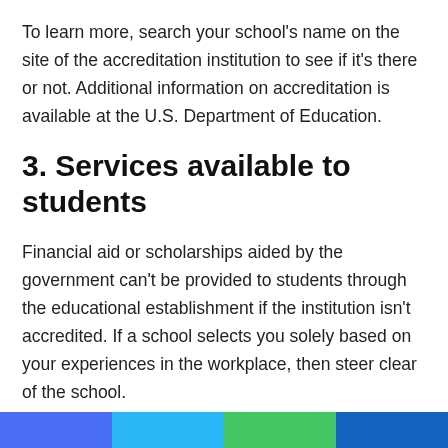To learn more, search your school's name on the site of the accreditation institution to see if it's there or not. Additional information on accreditation is available at the U.S. Department of Education.
3. Services available to students
Financial aid or scholarships aided by the government can't be provided to students through the educational establishment if the institution isn't accredited. If a school selects you solely based on your experiences in the workplace, then steer clear of the school.
It isn't a reputable one if attendance at classes by students isn't required. It is illegal for a university to exist without the proper facilities available to students like the library or career